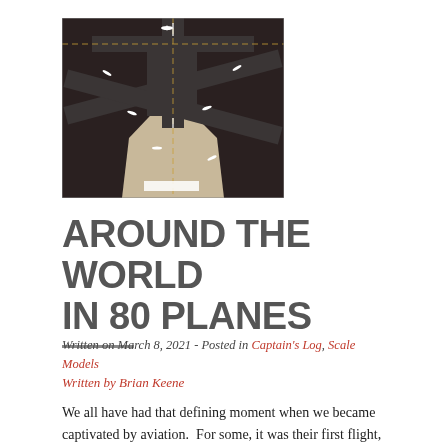[Figure (photo): Aerial-view photograph of a scale model airport diorama with miniature aircraft arranged on runways and taxiways, viewed from above. Dark runways with model planes visible.]
AROUND THE WORLD IN 80 PLANES
Written on March 8, 2021 - Posted in Captain's Log, Scale Models
Written by Brian Keene
We all have had that defining moment when we became captivated by aviation.  For some, it was their first flight,